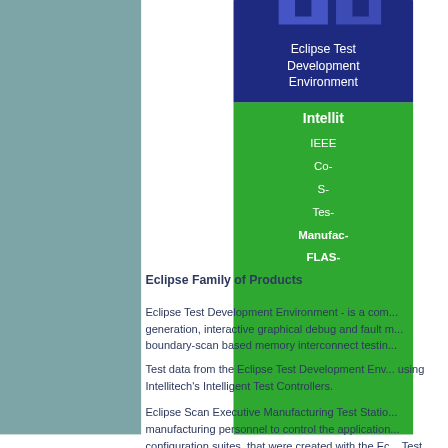[Figure (schematic): Diagram showing Eclipse Test Development Environment (blue block) at top and Intellitech (green block) below with items: IEEE, Co-, S-, Tes-, Manufac-, FLAS- partially visible]
Eclipse Family of Products
Eclipse Test Development Environment - is a com... generation, interactive graphical debug and fault ... boundary-scan based memory interconnect testin...
Test data from the Eclipse Test Development Env... using Intellitech's Intelligent Test Controllers.
Eclipse Scan Executive Manufacturing Test Statio... manufacturing personnel to control the application... configuration suites, that were created with the Ec... Test Controller...